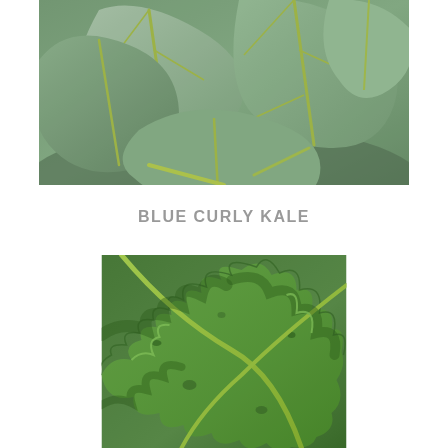[Figure (photo): Close-up photograph of flat kale or leafy green vegetable leaves, blue-green in color, spread out filling the frame.]
BLUE CURLY KALE
[Figure (photo): Close-up photograph of curly kale leaves, vibrant green with ruffled and curled edges, filling the frame densely.]